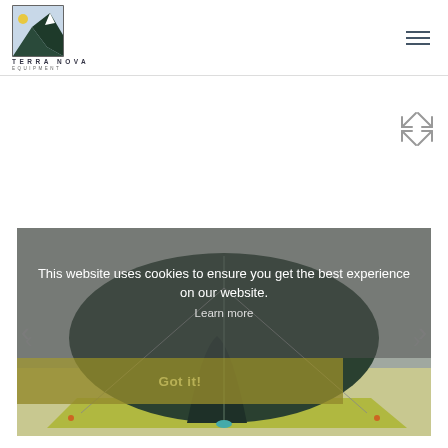[Figure (logo): Terra Nova Equipment logo with mountain/moon graphic and text TERRA NOVA EQUIPMENT]
[Figure (other): Hamburger menu icon (three horizontal lines) in top right corner]
[Figure (other): Expand/fullscreen icon (four arrows pointing outward) on right side]
[Figure (photo): Tent product photo - dark green dome tent with yellow/olive groundsheet on grey background, with carousel navigation arrows on sides]
This website uses cookies to ensure you get the best experience on our website. Learn more
Got it!